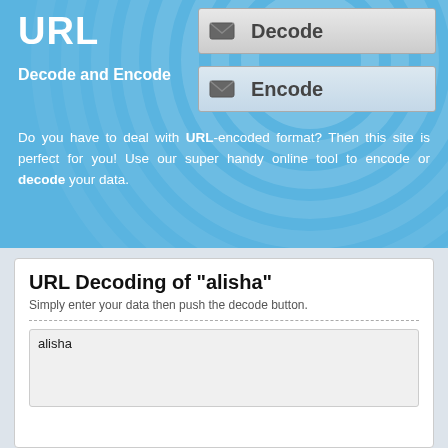URL
Decode and Encode
[Figure (screenshot): Decode button with envelope icon]
[Figure (screenshot): Encode button with envelope icon]
Do you have to deal with URL-encoded format? Then this site is perfect for you! Use our super handy online tool to encode or decode your data.
URL Decoding of "alisha"
Simply enter your data then push the decode button.
alisha